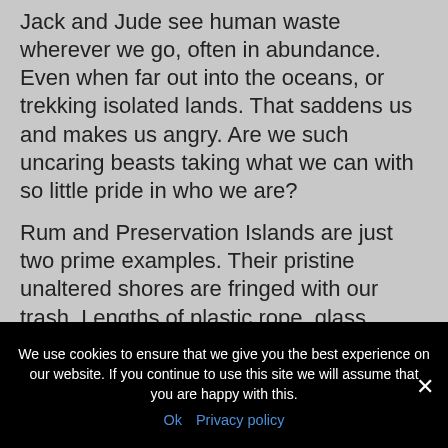Jack and Jude see human waste wherever we go, often in abundance. Even when far out into the oceans, or trekking isolated lands. That saddens us and makes us angry. Are we such uncaring beasts taking what we can with so little pride in who we are?
Rum and Preservation Islands are just two prime examples. Their pristine unaltered shores are fringed with our trash. Lengths of plastic rope, glass bottles, plastic containers and much more were easily seen amongst the seaweed and cuttlefish backbones and dead critters that nature absorbs. Nature's waste is fine. It's been building the natural world since creation, but our waste,
We use cookies to ensure that we give you the best experience on our website. If you continue to use this site we will assume that you are happy with this.
Ok   Privacy policy